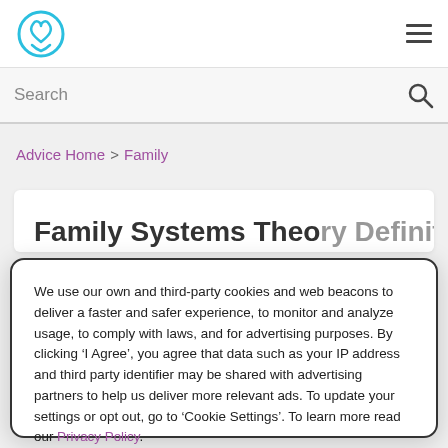Search
Advice Home > Family
Family Systems Theory Definition
We use our own and third-party cookies and web beacons to deliver a faster and safer experience, to monitor and analyze usage, to comply with laws, and for advertising purposes. By clicking ‘I Agree’, you agree that data such as your IP address and third party identifier may be shared with advertising partners to help us deliver more relevant ads. To update your settings or opt out, go to ‘Cookie Settings’. To learn more read our Privacy Policy.
Cookie Settings
I Agree